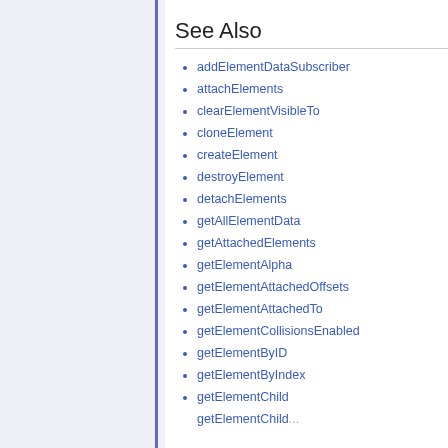See Also
addElementDataSubscriber
attachElements
clearElementVisibleTo
cloneElement
createElement
destroyElement
detachElements
getAllElementData
getAttachedElements
getElementAlpha
getElementAttachedOffsets
getElementAttachedTo
getElementCollisionsEnabled
getElementByID
getElementByIndex
getElementChild
getElementChild...